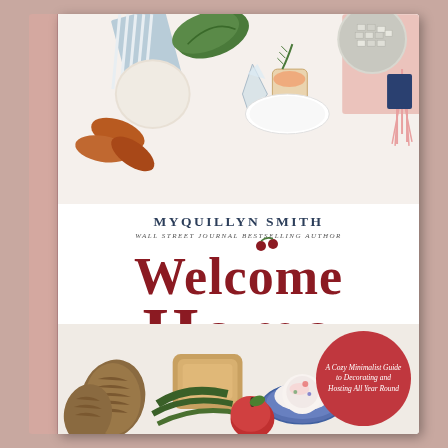[Figure (photo): Book cover of 'Welcome Home' by Myquillyn Smith. Pink linen spine on left. Cover features a top photo of decorative items (leaves, glass ornaments, grapefruit drink, pink tassels, disco ball) on white background, and a bottom photo of pine cones, bread, greenery, a decorated cookie on blue plate, and a red apple. Large dark red serif title text reads 'WELCOME HOME'. Author name 'MYQUILLYN SMITH' in small caps above. Subtitle in a dark red circle bottom right: 'A Cozy Minimalist Guide to Decorating and Hosting All Year Round'.]